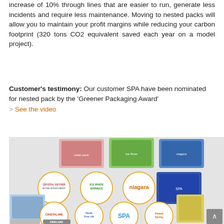increase of 10% through lines that are easier to run, generate less incidents and require less maintenance. Moving to nested packs will allow you to maintain your profit margins while reducing your carbon footprint (320 tons CO2 equivalent saved each year on a model project).
Customer's testimony: Our customer SPA have been nominated for nested pack by the 'Greener Packaging Award'
> See the video
[Figure (photo): Product brand collage showing various water bottle pack brands in circular logos and product images: Crystal Geyser, Ice River Springs, Niagara, Cristaline, Nestle Pure Life, SPA, Poland Spring, Kirkland, and others arranged in a grid with water bottle pack photos.]